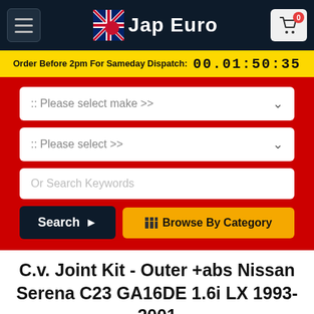[Figure (logo): Jap Euro logo with UK/Japanese flag icon and shopping cart button in dark navy header bar]
Order Before 2pm For Sameday Dispatch:  00.01:50:35
:: Please select make >>
:: Please select >>
Or Search Keywords
Search ➤
Browse By Category
C.v. Joint Kit - Outer +abs Nissan Serena C23 GA16DE 1.6i LX 1993-2001
WhatsApp
Call Us